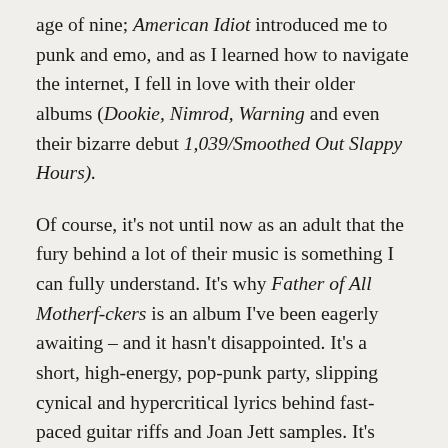age of nine; American Idiot introduced me to punk and emo, and as I learned how to navigate the internet, I fell in love with their older albums (Dookie, Nimrod, Warning and even their bizarre debut 1,039/Smoothed Out Slappy Hours).
Of course, it's not until now as an adult that the fury behind a lot of their music is something I can fully understand. It's why Father of All Motherf-ckers is an album I've been eagerly awaiting – and it hasn't disappointed. It's a short, high-energy, pop-punk party, slipping cynical and hypercritical lyrics behind fast-paced guitar riffs and Joan Jett samples. It's been out for less than 48 hours (at the time of me writing this) and I already have half the songs stuck in my head.